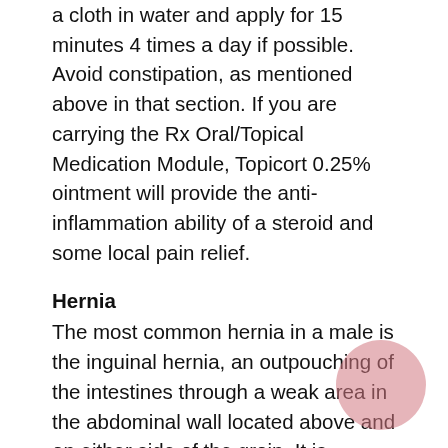a cloth in water and apply for 15 minutes 4 times a day if possible. Avoid constipation, as mentioned above in that section. If you are carrying the Rx Oral/Topical Medication Module, Topicort 0.25% ointment will provide the anti-inflammation ability of a steroid and some local pain relief.
Hernia
The most common hernia in a male is the inguinal hernia, an outpouching of the intestines through a weak area in the abdominal wall located above and on either side of the groin. It is through this area that the spermatic cord connects the testes to the back of the penis. A hernia can be produced while